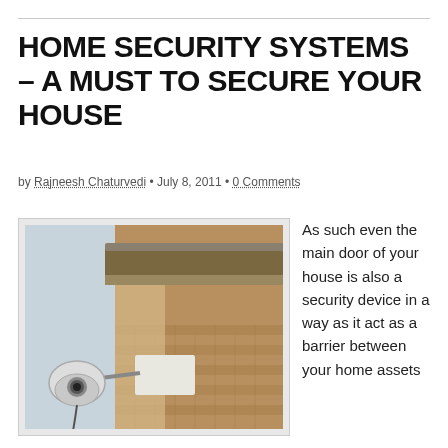HOME SECURITY SYSTEMS – A MUST TO SECURE YOUR HOUSE
by Rajneesh Chaturvedi • July 8, 2011 • 0 Comments
[Figure (photo): Outdoor security camera mounted on the corner of a brick building, with a gutter visible at the top. The camera is white and dome-shaped.]
As such even the main door of your house is also a security device in a way as it act as a barrier between your home assets